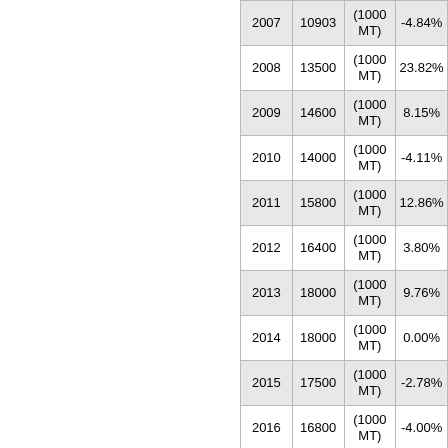| Year | Value | Unit | Change |
| --- | --- | --- | --- |
| 2007 | 10903 | (1000 MT) | -4.84% |
| 2008 | 13500 | (1000 MT) | 23.82% |
| 2009 | 14600 | (1000 MT) | 8.15% |
| 2010 | 14000 | (1000 MT) | -4.11% |
| 2011 | 15800 | (1000 MT) | 12.86% |
| 2012 | 16400 | (1000 MT) | 3.80% |
| 2013 | 18000 | (1000 MT) | 9.76% |
| 2014 | 18000 | (1000 MT) | 0.00% |
| 2015 | 17500 | (1000 MT) | -2.78% |
| 2016 | 16800 | (1000 MT) | -4.00% |
| 2017 | 17300 | (1000 MT) | 2.98% |
| 2018 | 16475 | (1000 MT) | -4.77% |